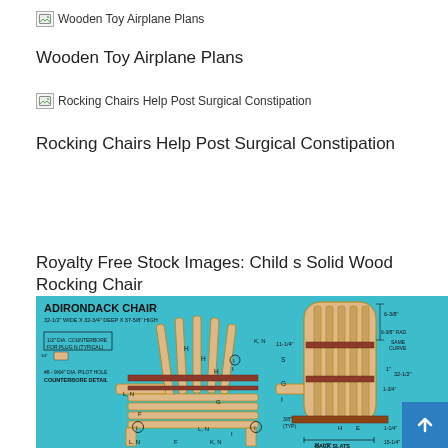[Figure (other): Broken image placeholder for Wooden Toy Airplane Plans]
Wooden Toy Airplane Plans
[Figure (other): Broken image placeholder for Rocking Chairs Help Post Surgical Constipation]
Rocking Chairs Help Post Surgical Constipation
Royalty Free Stock Images: Child s Solid Wood Rocking Chair
[Figure (engineering-diagram): Adirondack Chair woodworking plans diagram showing 32-1/2 wide x 32-3/4 deep x 37-5/8 high chair with labeled parts (H, F, G, I, K, N, L, N) and detailed measurements including counterbore detail, back slats spanning 21-1/2 inches, and various dimension callouts. Cyan/turquoise background with wood-toned chair illustration.]